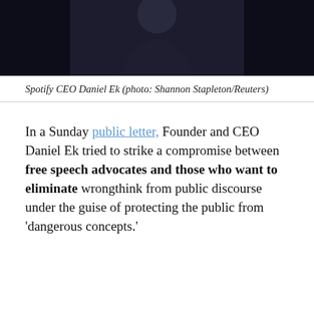[Figure (photo): Dark photo of a person (Spotify CEO Daniel Ek) against a dark background, only lower portion visible]
Spotify CEO Daniel Ek (photo: Shannon Stapleton/Reuters)
In a Sunday public letter, Founder and CEO Daniel Ek tried to strike a compromise between free speech advocates and those who want to eliminate wrongthink from public discourse under the guise of protecting the public from 'dangerous concepts.'